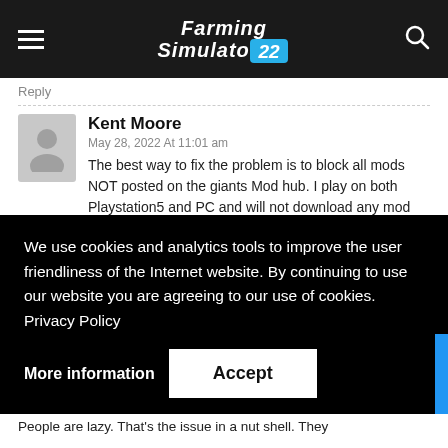Farming Simulator 22
Reply
Kent Moore
May 28, 2022 At 11:01 am
The best way to fix the problem is to block all mods NOT posted on the giants Mod hub. I play on both Playstation5 and PC and will not download any mod not on the giants mod hub. I downloaded a mod on FS15
We use cookies and analytics tools to improve the user friendliness of the Internet website. By continuing to use our website you are agreeing to our use of cookies. Privacy Policy
More information
Accept
People are lazy. That's the issue in a nut shell. They